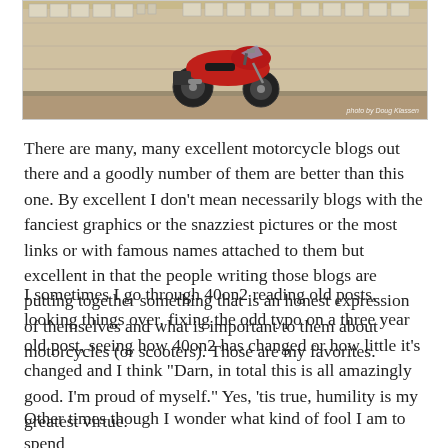[Figure (photo): A red motorcycle parked against a large building wall with rows of windows. Photo credit: photo by Doug Klassen.]
There are many, many excellent motorcycle blogs out there and a goodly number of them are better than this one. By excellent I don't mean necessarily blogs with the fanciest graphics or the snazziest pictures or the most links or with famous names attached to them but excellent in that the people writing those blogs are putting together something that is an honest expression of themselves and what is important to them about motorcycles (or scooters). Those are my favorites.
I sometimes I go through 40on2 reading old posts, looking things over, fixing the odd typo on a three year old post, seeing how 40on2 has changed or how little it's changed and I think "Darn, in total this is all amazingly good. I'm proud of myself." Yes, 'tis true, humility is my greatest virtue.
Other times though I wonder what kind of fool I am to spend